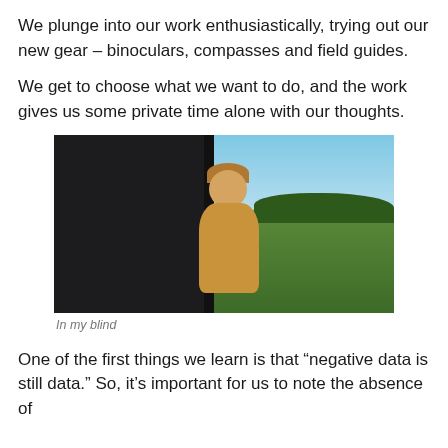We plunge into our work enthusiastically, trying out our new gear – binoculars, compasses and field guides.
We get to choose what we want to do, and the work gives us some private time alone with our thoughts.
[Figure (photo): A person with curly blonde hair wearing a yellow sweater, standing partially behind a dark wooden blind structure, with a green field and blue sky in the background.]
In my blind
One of the first things we learn is that “negative data is still data.” So, it’s important for us to note the absence of